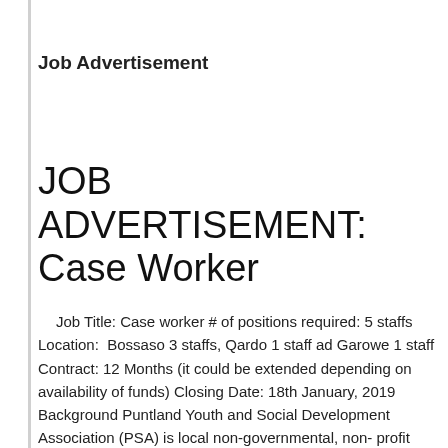Job Advertisement
JOB ADVERTISEMENT: Case Worker
Job Title: Case worker # of positions required: 5 staffs Location:  Bossaso 3 staffs, Qardo 1 staff ad Garowe 1 staff Contract: 12 Months (it could be extended depending on availability of funds) Closing Date: 18th January, 2019 Background Puntland Youth and Social Development Association (PSA) is local non-governmental, non- profit